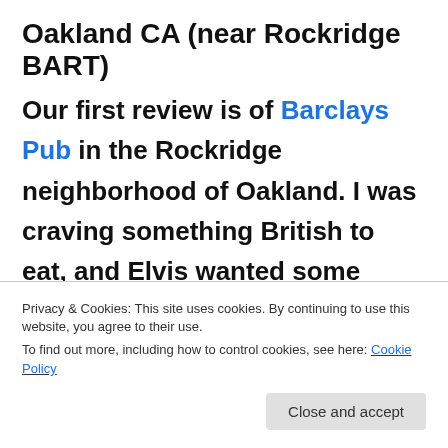Oakland CA (near Rockridge BART)
Our first review is of Barclays Pub in the Rockridge neighborhood of Oakland. I was craving something British to eat, and Elvis wanted some comfort food. Elvis still loves cheeseburgers and fries, but
Privacy & Cookies: This site uses cookies. By continuing to use this website, you agree to their use.
To find out more, including how to control cookies, see here: Cookie Policy
Close and accept